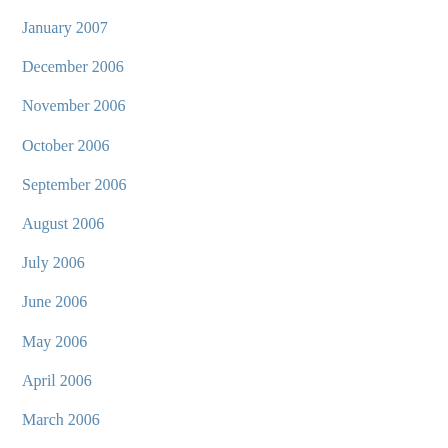January 2007
December 2006
November 2006
October 2006
September 2006
August 2006
July 2006
June 2006
May 2006
April 2006
March 2006
February 2006
January 2006
December 2005
November 2005